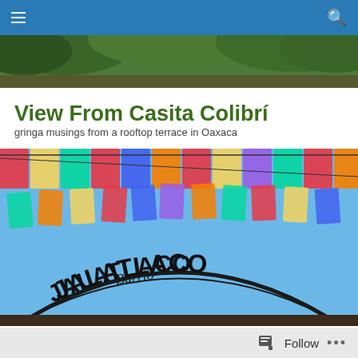Navigation bar with hamburger menu and search icon
[Figure (photo): Top banner photo showing tree foliage/branches]
View From Casita Colibrí
gringa musings from a rooftop terrace in Oaxaca
[Figure (photo): Colorful papel picado flags and a Barrio Jalatlaco sign arching over the scene]
State of yellow
Beginning tomorrow, Oaxaca's Covid-19 status moves
Follow ...